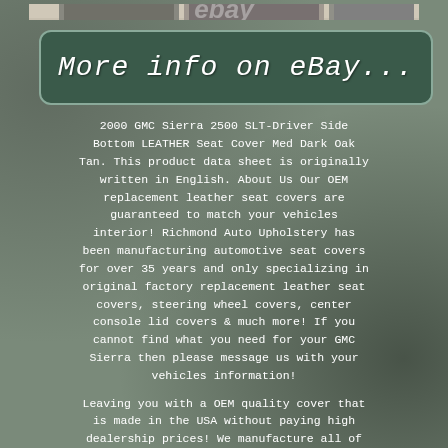[Figure (photo): Product promotional image showing GMC Sierra trucks with Richmond Auto Upholstery logo and eBay watermark]
[Figure (other): Dark green rounded rectangle button with italic white text reading 'More info on eBay...']
2000 GMC Sierra 2500 SLT-Driver Side Bottom LEATHER Seat Cover Med Dark Oak Tan. This product data sheet is originally written in English. About Us Our OEM replacement leather seat covers are guaranteed to match your vehicles interior! Richmond Auto Upholstery has been manufacturing automotive seat covers for over 35 years and only specializing in original factory replacement leather seat covers, steering wheel covers, center console lid covers & much more! If you cannot find what you need for your GMC Sierra then please message us with your vehicles information!
Leaving you with a OEM quality cover that is made in the USA without paying high dealership prices! We manufacture all of